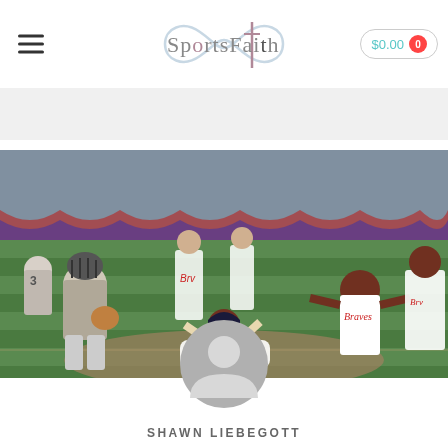SportsFaith — $0.00 cart
[Figure (photo): Baseball game action photo showing players on the field, including a catcher in gear and Braves players celebrating at home plate]
[Figure (illustration): Gray circular user avatar / profile placeholder icon]
SHAWN LIEBEGOTT